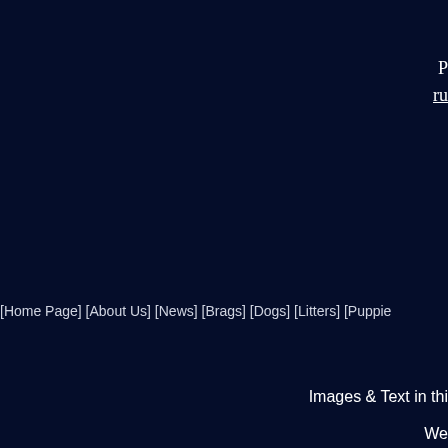ru
[Home Page] [About Us] [News] [Brags] [Dogs] [Litters] [Puppie
Images & Text in thi
We